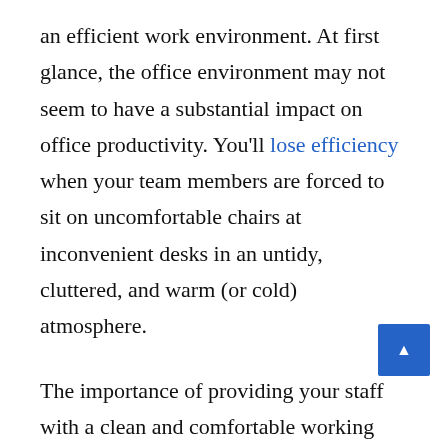an efficient work environment. At first glance, the office environment may not seem to have a substantial impact on office productivity. You'll lose efficiency when your team members are forced to sit on uncomfortable chairs at inconvenient desks in an untidy, cluttered, and warm (or cold) atmosphere.
The importance of providing your staff with a clean and comfortable working environment cannot be overstated. If your employees have good health, your office's performance and productivity will increase.
A Never-Ending Cycle of